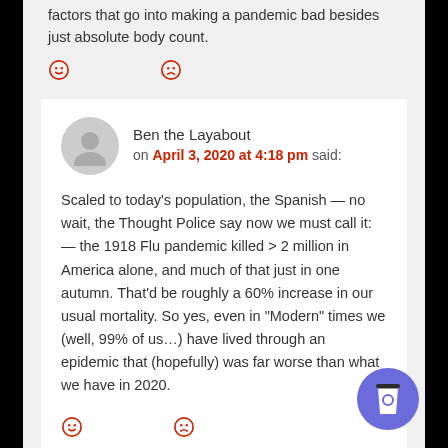factors that go into making a pandemic bad besides just absolute body count.
[Figure (illustration): Two emoji reaction icons: a happy face and a sad face, in red outline style]
Ben the Layabout on April 3, 2020 at 4:18 pm said:
Scaled to today's population, the Spanish — no wait, the Thought Police say now we must call it: — the 1918 Flu pandemic killed > 2 million in America alone, and much of that just in one autumn. That'd be roughly a 60% increase in our usual mortality. So yes, even in "Modern" times we (well, 99% of us…) have lived through an epidemic that (hopefully) was far worse than what we have in 2020.
[Figure (illustration): Two emoji reaction icons: a happy face and a sad face, in red outline style]